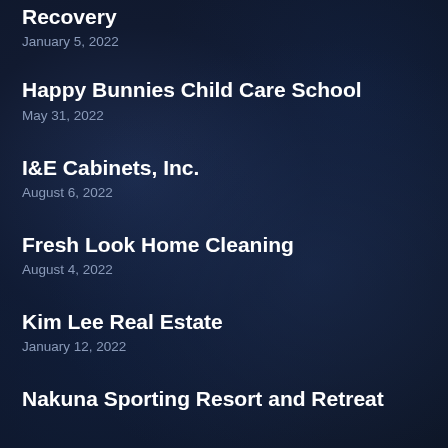Pro-Save Data – Apple iPhone Repair & Data Recovery
January 5, 2022
Happy Bunnies Child Care School
May 31, 2022
I&E Cabinets, Inc.
August 6, 2022
Fresh Look Home Cleaning
August 4, 2022
Kim Lee Real Estate
January 12, 2022
Nakuna Sporting Resort and Retreat